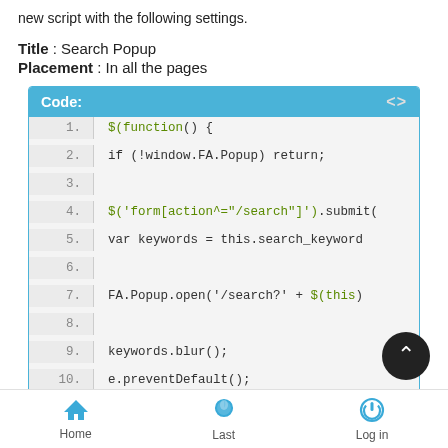new script with the following settings.
Title : Search Popup
Placement : In all the pages
[Figure (screenshot): Code block showing JavaScript code with line numbers 1-11. Header bar reads 'Code:' in blue with angle bracket icon. Code includes $(function() {, if (!window.FA.Popup) return;, $('form[action^="/search"]').submit(, var keywords = this.search_keyword, FA.Popup.open('/search?' + $(this), keywords.blur();, e.preventDefault();, });]
Home   Last   Log in